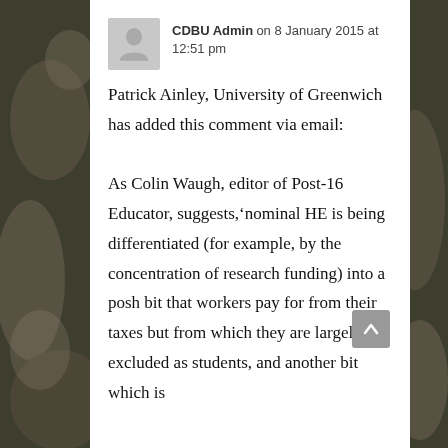CDBU Admin on 8 January 2015 at 12:51 pm
Patrick Ainley, University of Greenwich has added this comment via email:

As Colin Waugh, editor of Post-16 Educator, suggests,'nominal HE is being differentiated (for example, by the concentration of research funding) into a posh bit that workers pay for from their taxes but from which they are largely excluded as students, and another bit which is